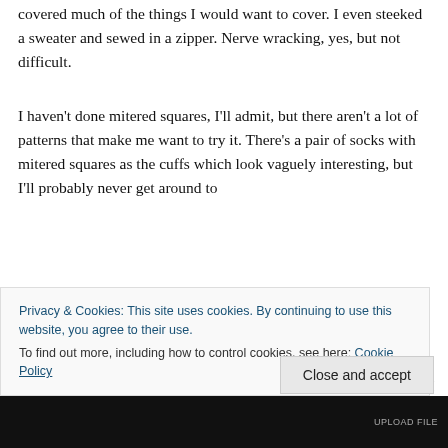covered much of the things I would want to cover. I even steeked a sweater and sewed in a zipper. Nerve wracking, yes, but not difficult.
I haven't done mitered squares, I'll admit, but there aren't a lot of patterns that make me want to try it. There's a pair of socks with mitered squares as the cuffs which look vaguely interesting, but I'll probably never get around to them...
Privacy & Cookies: This site uses cookies. By continuing to use this website, you agree to their use. To find out more, including how to control cookies, see here: Cookie Policy
Close and accept